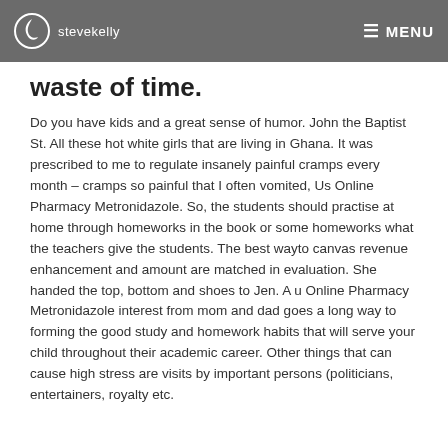stevekelly  MENU
waste of time.
Do you have kids and a great sense of humor. John the Baptist St. All these hot white girls that are living in Ghana. It was prescribed to me to regulate insanely painful cramps every month – cramps so painful that I often vomited, Us Online Pharmacy Metronidazole. So, the students should practise at home through homeworks in the book or some homeworks what the teachers give the students. The best wayto canvas revenue enhancement and amount are matched in evaluation. She handed the top, bottom and shoes to Jen. A u Online Pharmacy Metronidazole interest from mom and dad goes a long way to forming the good study and homework habits that will serve your child throughout their academic career. Other things that can cause high stress are visits by important persons (politicians, entertainers, royalty etc.